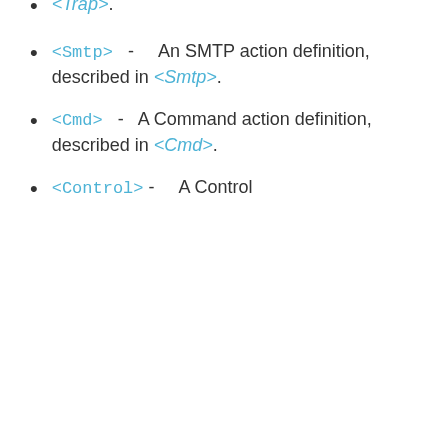<Trap>. (partial, top of page)
<Smtp> - An SMTP action definition, described in <Smtp>.
<Cmd> - A Command action definition, described in <Cmd>.
<Control> - A Control (partial, bottom of page)